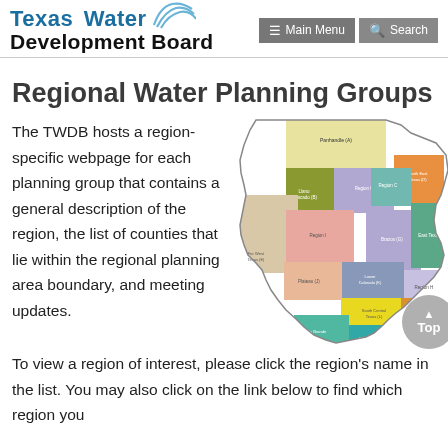Texas Water Development Board — Main Menu | Search
Regional Water Planning Groups
The TWDB hosts a region-specific webpage for each planning group that contains a general description of the region, the list of counties that lie within the regional planning area boundary, and meeting updates. To view a region of interest, please click the region's name in the list. You may also click on the link below to find which region you
[Figure (map): Map of Texas divided into Regional Water Planning Groups, showing colored regions labeled with names such as Panhandle (A), Llano Estacado (B), Region B, North East Texas (D), Region C, Brazos (G), East Texas (I), Region I, Lower Colorado/Guadalupe (K), Plateau (J), Region H, South Central Texas (L), Lavaca (P), Coastal Bend (N), Rio Grande (M).]